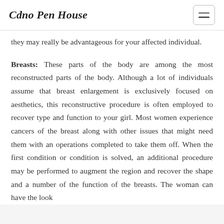Cdno Pen House
they may really be advantageous for your affected individual.
Breasts: These parts of the body are among the most reconstructed parts of the body. Although a lot of individuals assume that breast enlargement is exclusively focused on aesthetics, this reconstructive procedure is often employed to recover type and function to your girl. Most women experience cancers of the breast along with other issues that might need them with an operations completed to take them off. When the first condition or condition is solved, an additional procedure may be performed to augment the region and recover the shape and a number of the function of the breasts. The woman can have the look